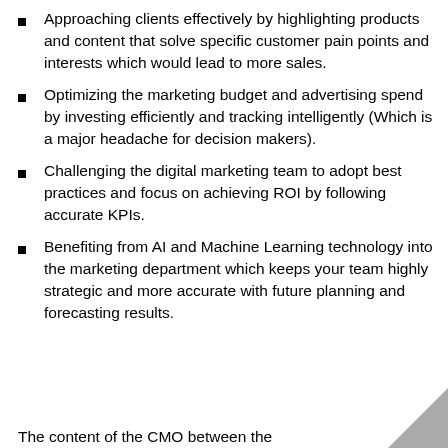Approaching clients effectively by highlighting products and content that solve specific customer pain points and interests which would lead to more sales.
Optimizing the marketing budget and advertising spend by investing efficiently and tracking intelligently (Which is a major headache for decision makers).
Challenging the digital marketing team to adopt best practices and focus on achieving ROI by following accurate KPIs.
Benefiting from AI and Machine Learning technology into the marketing department which keeps your team highly strategic and more accurate with future planning and forecasting results.
The content of the CMO between the